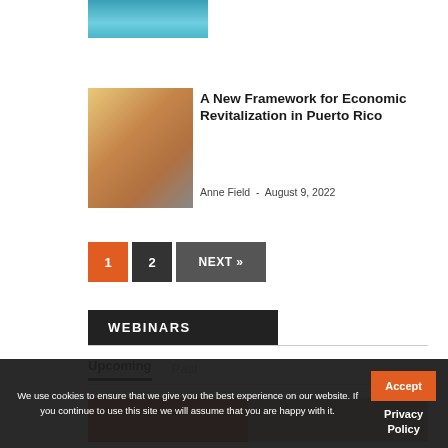[Figure (photo): Partial top image showing water/swimming scene]
[Figure (photo): Puerto Rico flag hanging on a building]
A New Framework for Economic Revitalization in Puerto Rico
Anne Field  -  August 9, 2022
1  2  NEXT »
WEBINARS
Upcoming   Past
[Figure (photo): Partial webinar promotional image]
We use cookies to ensure that we give you the best experience on our website. If you continue to use this site we will assume that you are happy with it.
Accept
Privacy Policy